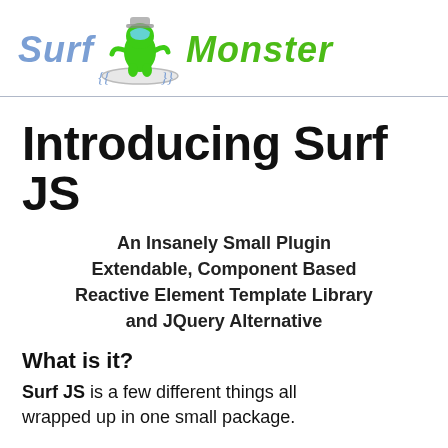[Figure (logo): Surf Monster logo with stylized text 'Surf' in blue italic, a green Among Us style character surfing, and 'Monster' in green italic]
Introducing Surf JS
An Insanely Small Plugin Extendable, Component Based Reactive Element Template Library and JQuery Alternative
What is it?
Surf JS is a few different things all wrapped up in one small package.